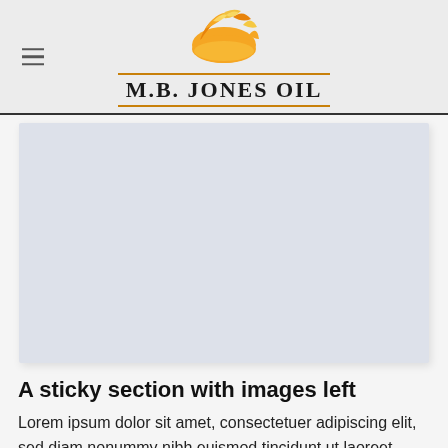M.B. Jones Oil
[Figure (photo): Light blue-grey rectangular image placeholder area]
A sticky section with images left
Lorem ipsum dolor sit amet, consectetuer adipiscing elit, sed diam nonummy nibh euismod tincidunt ut laoreet dolore magna aliquam erat volutpat....